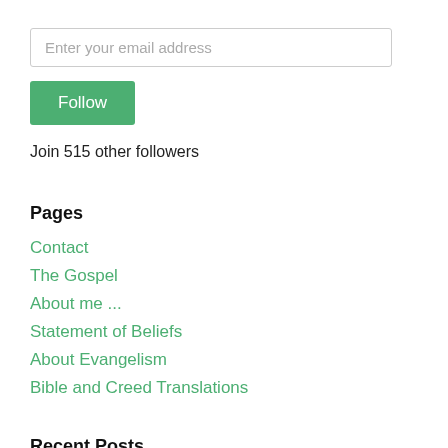[Figure (screenshot): Email input field with placeholder text 'Enter your email address']
[Figure (screenshot): Green Follow button]
Join 515 other followers
Pages
Contact
The Gospel
About me ...
Statement of Beliefs
About Evangelism
Bible and Creed Translations
Recent Posts